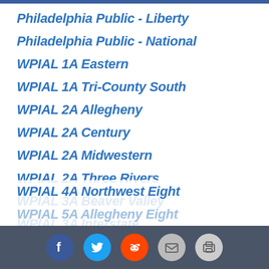Philadelphia Public - Liberty
Philadelphia Public - National
WPIAL 1A Eastern
WPIAL 1A Tri-County South
WPIAL 2A Allegheny
WPIAL 2A Century
WPIAL 2A Midwestern
WPIAL 2A Three Rivers
WPIAL 3A Beaver Valley
WPIAL 3A Interstate
WPIAL 4A Big Nine
WPIAL 4A Northwest Eight
WPIAL 5A Allegheny Eight